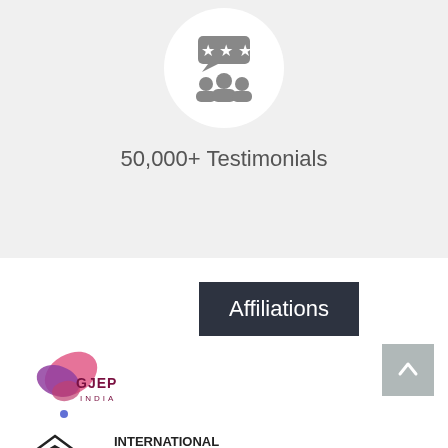[Figure (illustration): Circular white icon with testimonials/people with speech bubbles icon on gray background]
50,000+ Testimonials
Affiliations
[Figure (logo): GJEPC India logo - colorful butterfly/gem shape with GJEPC INDIA text]
[Figure (logo): International Gemological Institute logo - diamond shape with IGI letters]
INTERNATIONAL GEMOLOGICAL INSTITUTE